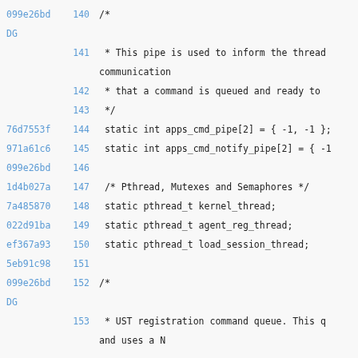099e26bd 140 /*
DG
141  * This pipe is used to inform the thread communication
142  * that a command is queued and ready to
143  */
76d7553f 144  static int apps_cmd_pipe[2] = { -1, -1 };
971a61c6 145  static int apps_cmd_notify_pipe[2] = { -1
099e26bd 146
1d4b027a 147  /* Pthread, Mutexes and Semaphores */
7a485870 148  static pthread_t kernel_thread;
022d91ba 149  static pthread_t agent_reg_thread;
ef367a93 150  static pthread_t load_session_thread;
5eb91c98 151
099e26bd 152 /*
DG
153  * UST registration command queue. This q and uses a N